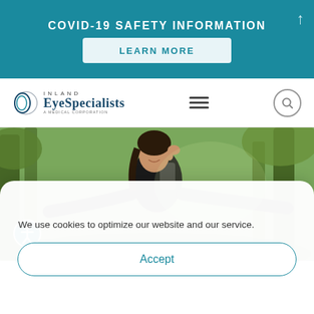COVID-19 SAFETY INFORMATION
LEARN MORE
[Figure (logo): Inland EyeSpecialists logo with circular eye graphic and tagline 'A Medical Corporation']
[Figure (photo): Woman smiling outdoors wearing a black athletic outfit with a backpack, trees in background]
We use cookies to optimize our website and our service.
Accept